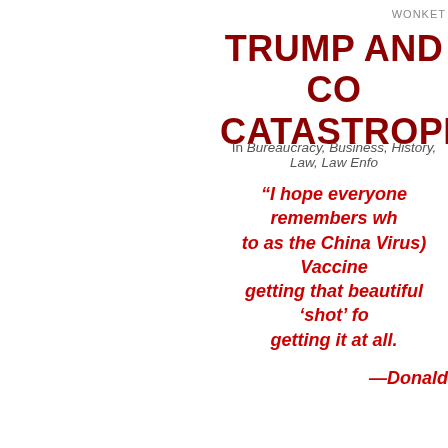WONKET
TRUMP AND CO CATASTROPHE
In Bureaucracy, Business, History, Law, Law Enfo
“I hope everyone remembers wh to as the China Virus) Vaccine getting that beautiful ‘shot’ fo getting it at all. —Donald
COVID-19 has so far infected 29.2
With the pandemic appearing to Americans will soon revert to one caused them unpleasantness.
But this should not be forgotten: States is the inevitable result of a and incompetent administration.
In this — COVID-19 —